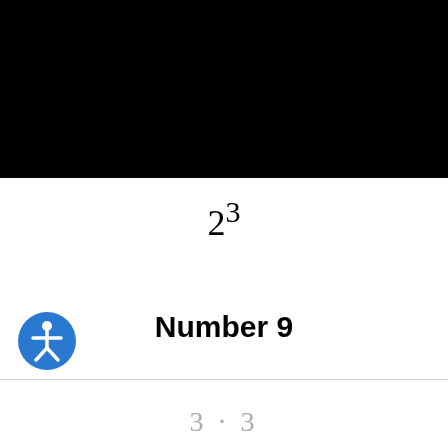[Figure (other): Black rectangle header image area]
Number 9
[Figure (other): Blue accessibility/person icon (wheelchair user symbol)]